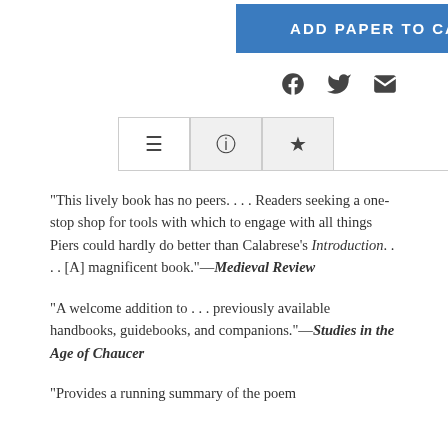[Figure (other): Blue 'ADD PAPER TO CART' button]
[Figure (other): Social share icons: Facebook, Twitter, Email]
[Figure (other): Tab navigation with three icon tabs: list, info, star]
“This lively book has no peers. . . . Readers seeking a one-stop shop for tools with which to engage with all things Piers could hardly do better than Calabrese’s Introduction. . . . [A] magnificent book.”—Medieval Review
“A welcome addition to . . . previously available handbooks, guidebooks, and companions.”—Studies in the Age of Chaucer
“Provides a running summary of the poem